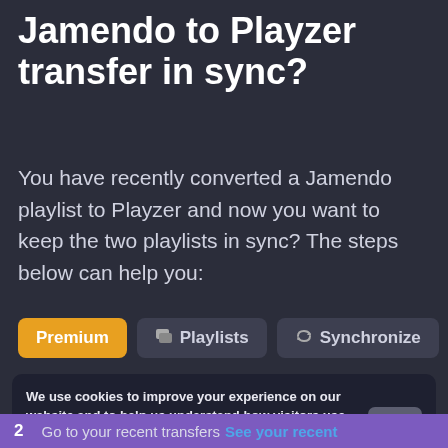How to keep a recent Jamendo to Playzer transfer in sync?
You have recently converted a Jamendo playlist to Playzer and now you want to keep the two playlists in sync? The steps below can help you:
[Figure (screenshot): Row of three buttons: 'Premium' (yellow/orange), 'Playlists' (dark with playlist icon), 'Synchronize' (dark with sync icon)]
We use cookies to improve your experience on our website and to help us understand how visitors use it. By using this site, you agree to this use. See details
2   Go to your recent transfers  See your recent